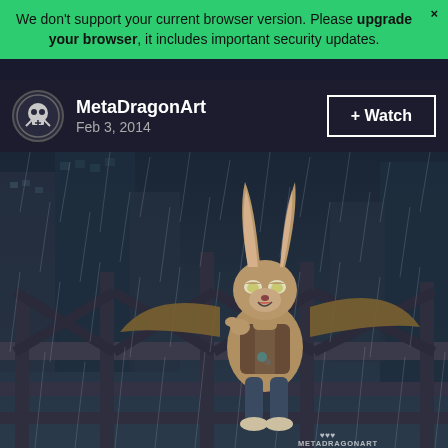We don't support your current browser version. Please upgrade your browser, it includes important security updates.
MetaDragonArt
Feb 3, 2014
+ Watch
[Figure (illustration): Digital illustration of an anthropomorphic bat/rabbit character sitting on a metal structure in the rain. The character is brown-furred with large ears and bat wings, wearing a vest and pants, in a dark moody cyberpunk city setting. Watermark 'MetaDragonArt' in bottom right corner.]